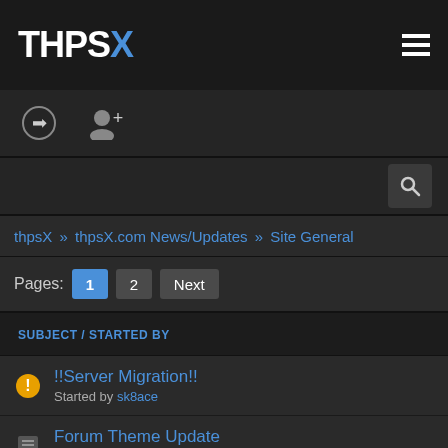THPSX
thpsX » thpsX.com News/Updates » Site General
Pages: 1 2 Next
| SUBJECT / STARTED BY |
| --- |
| !!Server Migration!! Started by sk8ace |
| Forum Theme Update Started by sk8ace |
| Creation-Details section added to the Vault Started by sk8ace |